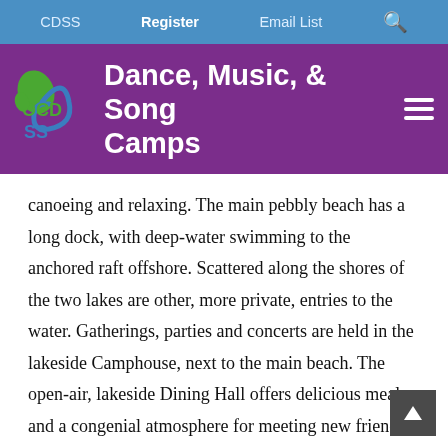CDSS   Register   Email List
Dance, Music, & Song Camps
canoeing and relaxing. The main pebbly beach has a long dock, with deep-water swimming to the anchored raft offshore. Scattered along the shores of the two lakes are other, more private, entries to the water. Gatherings, parties and concerts are held in the lakeside Camphouse, next to the main beach. The open-air, lakeside Dining Hall offers delicious meals and a congenial atmosphere for meeting new friends. With